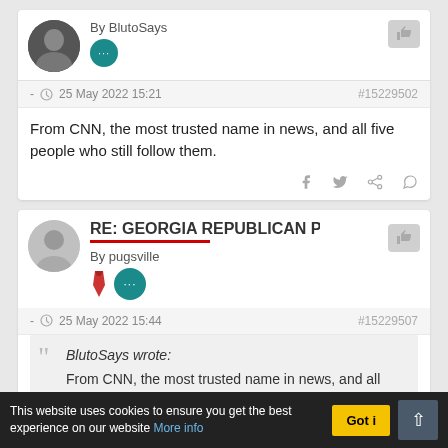By BlutoSays
- 25 May 2022 15:21  #15229502
From CNN, the most trusted name in news, and all five people who still follow them.
RE: GEORGIA REPUBLICAN PRIMARY INDI
By pugsville
- 25 May 2022 15:44  #15229507
BlutoSays wrote: From CNN, the most trusted name in news, and all five people who still follow them.
This website uses cookies to ensure you get the best experience on our website More info